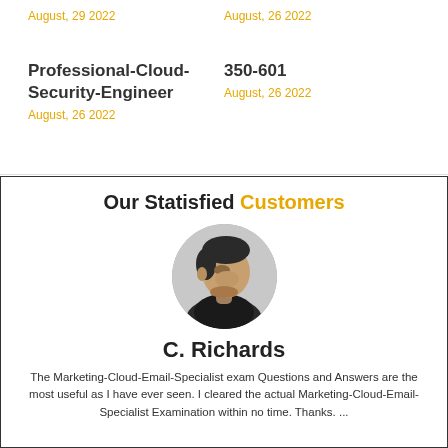August, 29 2022
August, 26 2022
Professional-Cloud-Security-Engineer
350-601
August, 26 2022
August, 26 2022
Our Statisfied Customers
[Figure (photo): Black and white circular portrait photo of C. Richards, a young man looking to the side]
C. Richards
The Marketing-Cloud-Email-Specialist exam Questions and Answers are the most useful as I have ever seen. I cleared the actual Marketing-Cloud-Email-Specialist Examination within no time. Thanks. ...